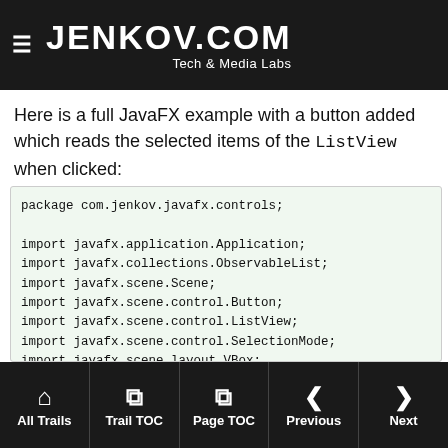JENKOV.COM Tech & Media Labs
Here is a full JavaFX example with a button added which reads the selected items of the ListView when clicked:
package com.jenkov.javafx.controls;

import javafx.application.Application;
import javafx.collections.ObservableList;
import javafx.scene.Scene;
import javafx.scene.control.Button;
import javafx.scene.control.ListView;
import javafx.scene.control.SelectionMode;
import javafx.scene.layout.VBox;
import javafx.stage.Stage;


public class ListViewExperiments extends Application

    @Override
All Trails  Trail TOC  Page TOC  Previous  Next